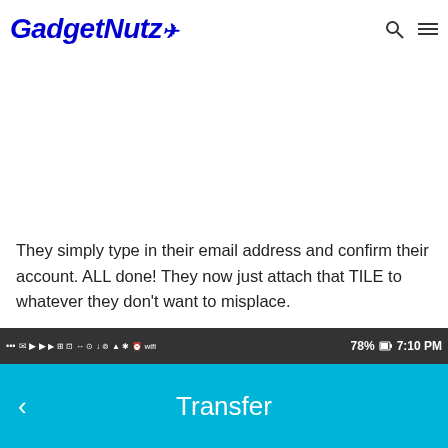GadgetNutz
They simply type in their email address and confirm their account. ALL done! They now just attach that TILE to whatever they don't want to misplace.
[Figure (screenshot): Android phone screenshot showing a status bar with icons (78% battery, 7:10 PM) and a teal navigation bar with a back arrow and 'Transfer' title]